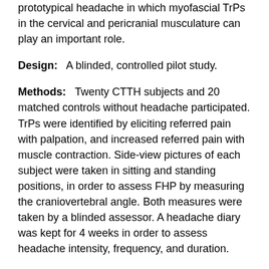prototypical headache in which myofascial TrPs in the cervical and pericranial musculature can play an important role.
Design: A blinded, controlled pilot study.
Methods: Twenty CTTH subjects and 20 matched controls without headache participated. TrPs were identified by eliciting referred pain with palpation, and increased referred pain with muscle contraction. Side-view pictures of each subject were taken in sitting and standing positions, in order to assess FHP by measuring the craniovertebral angle. Both measures were taken by a blinded assessor. A headache diary was kept for 4 weeks in order to assess headache intensity, frequency, and duration.
Results: Sixty-five percent (13/20) CTTH subjects showed active TrPs and 35% (7/20) had latent TrPs in the suboccipital muscles. Six (30%) controls also had latent